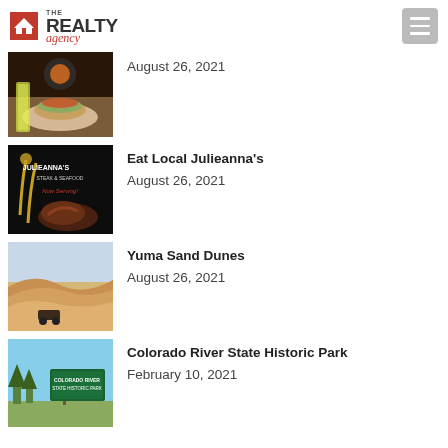THE REALTY agency
[Figure (photo): Food/restaurant photo with burger and drink]
August 26, 2021
[Figure (photo): Julieanna's Steak & Seafood restaurant promo image]
Eat Local Julieanna's
August 26, 2021
[Figure (photo): Yuma Sand Dunes with an off-road vehicle]
Yuma Sand Dunes
August 26, 2021
[Figure (photo): Colorado River State Historic Park sign]
Colorado River State Historic Park
February 10, 2021